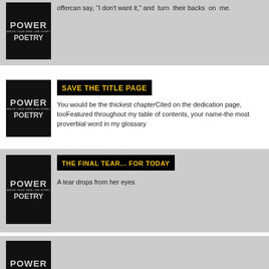[Figure (illustration): Power Poetry book cover thumbnail - black background with stylized text]
offercan say, "I don't want it," and turn their backs on me.
[Figure (illustration): Power Poetry book cover thumbnail - black background with stylized text]
SAVE THE TITLE PAGE
You would be the thickest chapterCited on the dedication page, tooFeatured throughout my table of contents, your name-the most proverbial word in my glossary
[Figure (illustration): Power Poetry book cover thumbnail - black background with stylized text]
THE FINAL TEAR... FOR TODAY
A tear drops from her eyes
[Figure (illustration): Power Poetry book cover thumbnail - black background with stylized text (partial, bottom of page)]